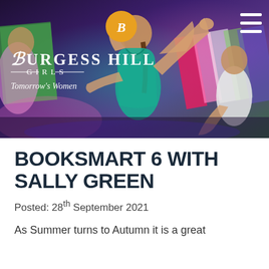[Figure (photo): Header banner photo of young women dancing on a stage with colorful lighting (purple, teal, pink). Overlaid with Burgess Hill Girls school logo (gold circle with 'B'), school name 'Burgess Hill Girls - Tomorrow's Women', and a hamburger menu icon.]
BOOKSMART 6 WITH SALLY GREEN
Posted: 28th September 2021
As Summer turns to Autumn it is a great